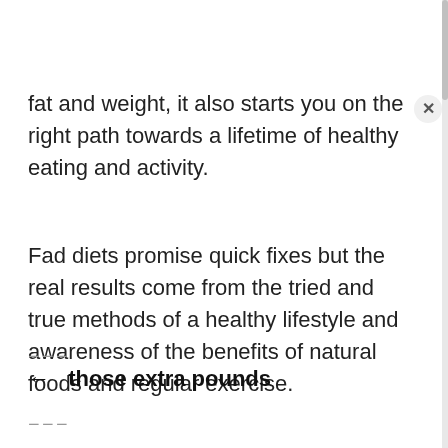fat and weight, it also starts you on the right path towards a lifetime of healthy eating and activity.
Fad diets promise quick fixes but the real results come from the tried and true methods of a healthy lifestyle and awareness of the benefits of natural foods and regular exercise.
← those extra pounds